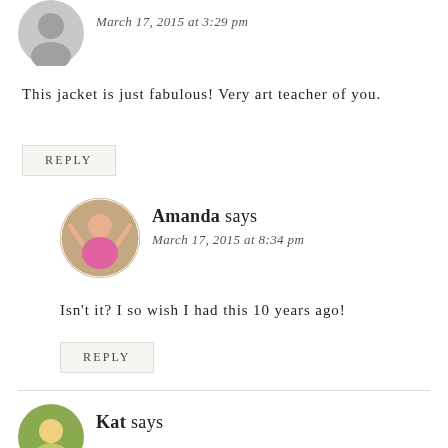[Figure (photo): Gray default avatar icon (partial, top of page)]
March 17, 2015 at 3:29 pm
This jacket is just fabulous! Very art teacher of you.
REPLY
[Figure (photo): Amanda's circular avatar photo - woman in pink top against brick wall]
Amanda says
March 17, 2015 at 8:34 pm
Isn't it? I so wish I had this 10 years ago!
REPLY
[Figure (photo): Kat's circular avatar photo - partial, bottom of page]
Kat says